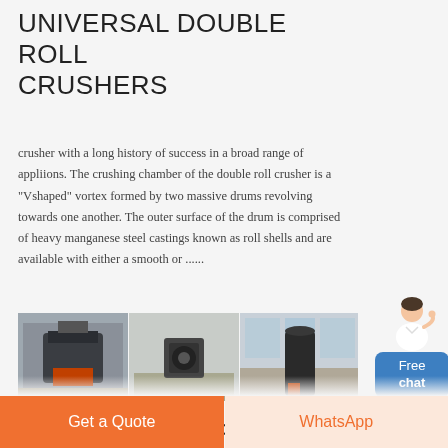UNIVERSAL DOUBLE ROLL CRUSHERS
crusher with a long history of success in a broad range of appliions. The crushing chamber of the double roll crusher is a "Vshaped" vortex formed by two massive drums revolving towards one another. The outer surface of the drum is comprised of heavy manganese steel castings known as roll shells and are available with either a smooth or ......
[Figure (photo): Strip of five industrial machinery photos showing double roll crushers in a factory/warehouse setting]
Good Performance Double Roll Crushers Specifiion For Sale